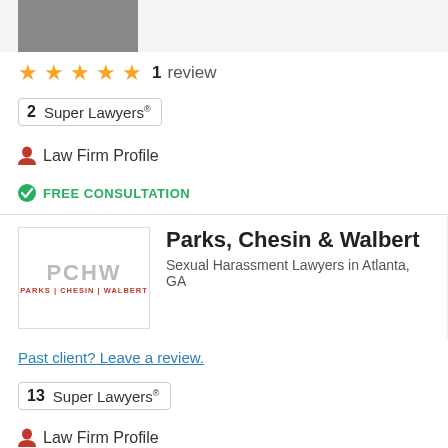[Figure (photo): Partial photo of a person (lawyer headshot), cropped at top]
★★★★★  1  review
2  Super Lawyers®
🧑 Law Firm Profile
✔ FREE CONSULTATION
[Figure (logo): Parks Chesin Walbert law firm logo with PCHW letters]
Parks, Chesin & Walbert
Sexual Harassment Lawyers in Atlanta, GA
Past client? Leave a review.
13  Super Lawyers®
🧑 Law Firm Profile
✔ FREE CONSULTATION